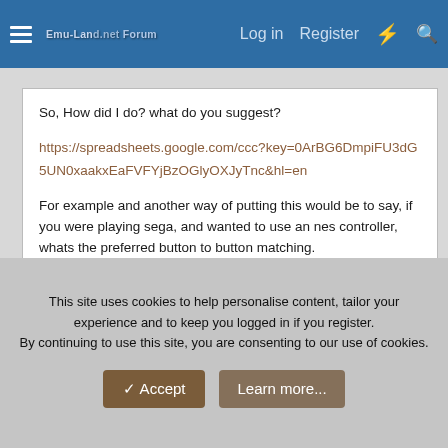Emu-Land.net Forum — Log in  Register
So, How did I do? what do you suggest?
https://spreadsheets.google.com/ccc?key=0ArBG6DmpiFU3dG5UN0xaakxEaFVFYjBzOGlyOXJyTnc&hl=en
For example and another way of putting this would be to say, if you were playing sega, and wanted to use an nes controller, whats the preferred button to button matching.
Also.. a way to change players..
This site uses cookies to help personalise content, tailor your experience and to keep you logged in if you register.
By continuing to use this site, you are consenting to our use of cookies.
✔ Accept
Learn more...